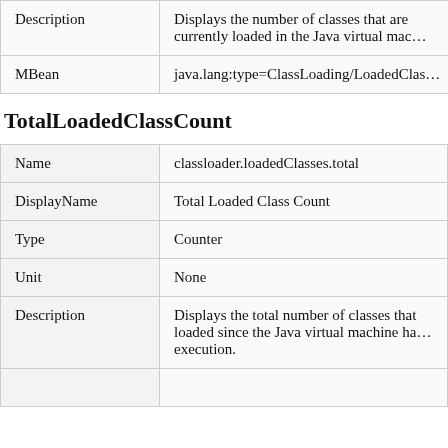| Description | Displays the number of classes that are currently loaded in the Java virtual mac… |
| MBean | java.lang:type=ClassLoading/LoadedClas… |
TotalLoadedClassCount
| Name | classloader.loadedClasses.total |
| DisplayName | Total Loaded Class Count |
| Type | Counter |
| Unit | None |
| Description | Displays the total number of classes that loaded since the Java virtual machine ha… execution. |